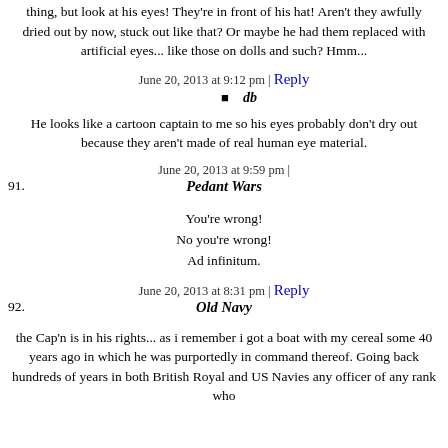thing, but look at his eyes! They're in front of his hat! Aren't they awfully dried out by now, stuck out like that? Or maybe he had them replaced with artificial eyes... like those on dolls and such? Hmm...
June 20, 2013 at 9:12 pm | Reply
db
He looks like a cartoon captain to me so his eyes probably don't dry out because they aren't made of real human eye material.
June 20, 2013 at 9:59 pm |
91.  Pedant Wars
You're wrong!
No you're wrong!
Ad infinitum.
June 20, 2013 at 8:31 pm | Reply
92.  Old Navy
the Cap'n is in his rights... as i remember i got a boat with my cereal some 40 years ago in which he was purportedly in command thereof. Going back hundreds of years in both British Royal and US Navies any officer of any rank who